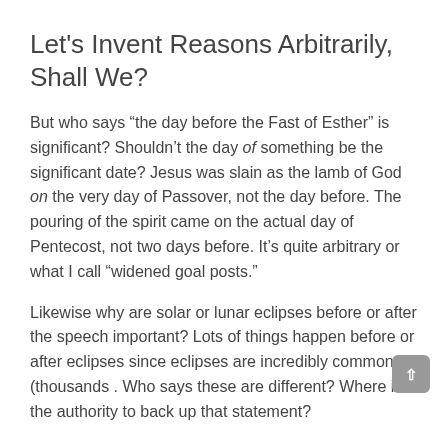Let's Invent Reasons Arbitrarily, Shall We?
But who says “the day before the Fast of Esther” is significant? Shouldn’t the day of something be the significant date? Jesus was slain as the lamb of God on the very day of Passover, not the day before. The pouring of the spirit came on the actual day of Pentecost, not two days before. It’s quite arbitrary or what I call “widened goal posts.”
Likewise why are solar or lunar eclipses before or after the speech important? Lots of things happen before or after eclipses since eclipses are incredibly common (thousands . Who says these are different? Where is the authority to back up that statement?